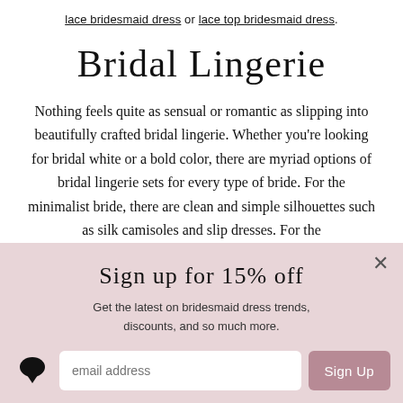lace bridesmaid dress or lace top bridesmaid dress.
Bridal Lingerie
Nothing feels quite as sensual or romantic as slipping into beautifully crafted bridal lingerie. Whether you're looking for bridal white or a bold color, there are myriad options of bridal lingerie sets for every type of bride. For the minimalist bride, there are clean and simple silhouettes such as silk camisoles and slip dresses. For the
Sign up for 15% off
Get the latest on bridesmaid dress trends, discounts, and so much more.